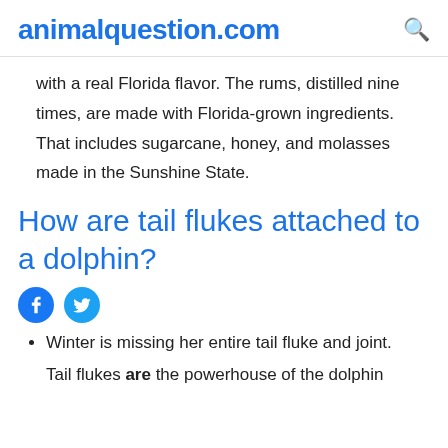animalquestion.com
with a real Florida flavor. The rums, distilled nine times, are made with Florida-grown ingredients. That includes sugarcane, honey, and molasses made in the Sunshine State.
How are tail flukes attached to a dolphin?
[Figure (other): Facebook and Twitter social share icons]
Winter is missing her entire tail fluke and joint.
Tail flukes are the powerhouse of the dolphin